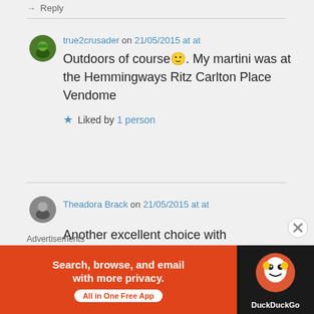→ Reply
true2crusader on 21/05/2015 at at
Outdoors of course 🙂. My martini was at the Hemmingways Ritz Carlton Place Vendome
★ Liked by 1 person
Theadora Brack on 21/05/2015 at at
Another excellent choice with
Advertisements
[Figure (other): DuckDuckGo advertisement banner: orange background on left with text 'Search, browse, and email with more privacy. All in One Free App' and DuckDuckGo logo on dark right panel]